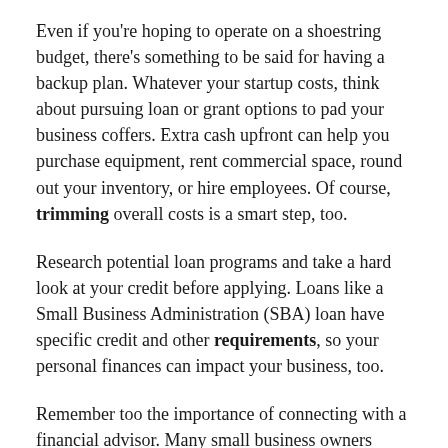Even if you're hoping to operate on a shoestring budget, there's something to be said for having a backup plan. Whatever your startup costs, think about pursuing loan or grant options to pad your business coffers. Extra cash upfront can help you purchase equipment, rent commercial space, round out your inventory, or hire employees. Of course, trimming overall costs is a smart step, too.
Research potential loan programs and take a hard look at your credit before applying. Loans like a Small Business Administration (SBA) loan have specific credit and other requirements, so your personal finances can impact your business, too.
Remember too the importance of connecting with a financial advisor. Many small business owners suffer a hit to their own finances in times like this, so a professional's advice can make all the difference when you're trying to recover your losses.
Though it's not easy to make a comeback after experiencing...